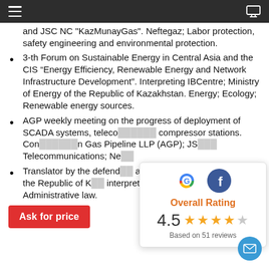and JSC NC "KazMunayGas". Neftegaz; Labor protection, safety engineering and environmental protection.
3-th Forum on Sustainable Energy in Central Asia and the CIS “Energy Efficiency, Renewable Energy and Network Infrastructure Development”. Interpreting IBCentre; Ministry of Energy of the Republic of Kazakhstan. Energy; Ecology; Renewable energy sources.
AGP weekly meeting on the progress of deployment of SCADA systems, teleco… compressor stations. Cor… Gas Pipeline LLP (AGP); JS… Telecommunications; Ne…
Translator by the defend… administrative vi… rules of the Republic of K… interpreting. Jurisprudence; Administrative law.
[Figure (infographic): Overall Rating widget showing Google and Facebook icons, rating 4.5 stars based on 51 reviews]
Ask for price
Based on 51 reviews